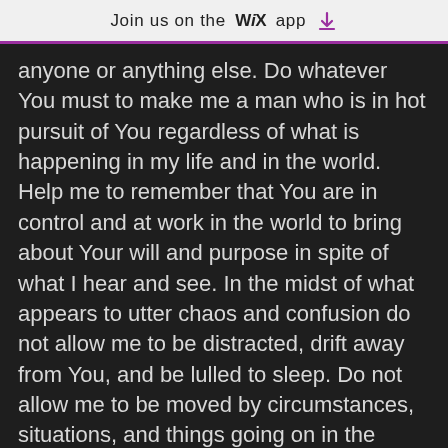Join us on the WiX app ⬇
anyone or anything else. Do whatever You must to make me a man who is in hot pursuit of You regardless of what is happening in my life and in the world. Help me to remember that You are in control and at work in the world to bring about Your will and purpose in spite of what I hear and see. In the midst of what appears to utter chaos and confusion do not allow me to be distracted, drift away from You, and be lulled to sleep. Do not allow me to be moved by circumstances, situations, and things going on in the world. Let me only be moved by Your Spirit as You lead me down the paths of righteousness for Your name's sake.